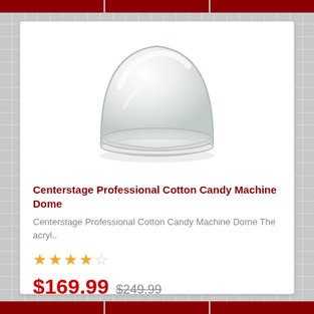[Figure (photo): A clear acrylic dome for a cotton candy machine, transparent with a round base flange, viewed from a slight angle on a white background.]
Centerstage Professional Cotton Candy Machine Dome
Centerstage Professional Cotton Candy Machine Dome The acryl..
★★★★☆
$169.99  $249.99